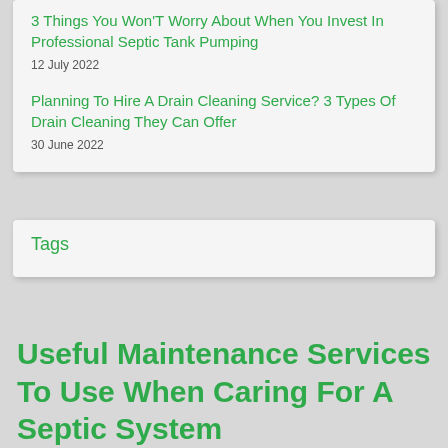3 Things You Won'T Worry About When You Invest In Professional Septic Tank Pumping
12 July 2022
Planning To Hire A Drain Cleaning Service? 3 Types Of Drain Cleaning They Can Offer
30 June 2022
Tags
Useful Maintenance Services To Use When Caring For A Septic System
24 May 2022